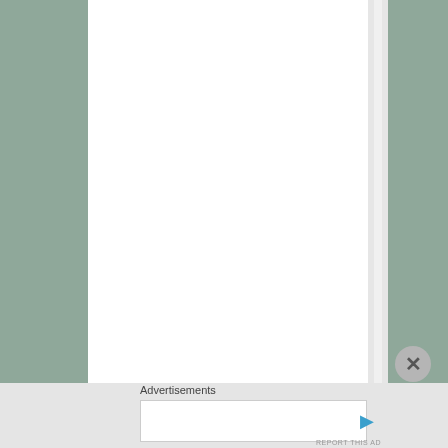_nc_cat=105&ccc h
Advertisements